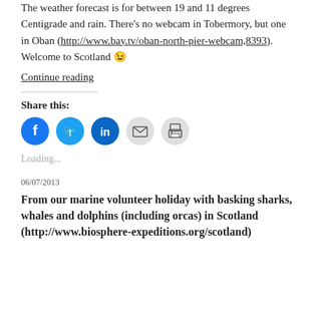The weather forecast is for between 19 and 11 degrees Centigrade and rain. There's no webcam in Tobermory, but one in Oban (http://www.bay.tv/oban-north-pier-webcam,8393). Welcome to Scotland 😉
Continue reading
Share this:
[Figure (infographic): Row of social share icon buttons: Facebook (blue circle), Twitter (blue circle), LinkedIn (dark blue circle), Email (grey circle), Print (grey circle)]
Loading...
06/07/2013
From our marine volunteer holiday with basking sharks, whales and dolphins (including orcas) in Scotland (http://www.biosphere-expeditions.org/scotland)